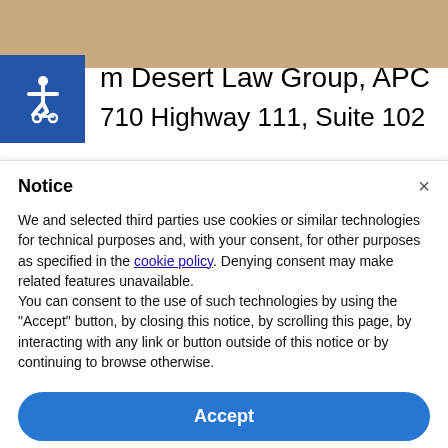[Figure (other): Tan/gold colored banner at the top of the page]
[Figure (logo): Blue accessibility icon (wheelchair symbol) on dark blue background]
m Desert Law Group, APC
710 Highway 111, Suite 102
Notice
We and selected third parties use cookies or similar technologies for technical purposes and, with your consent, for other purposes as specified in the cookie policy. Denying consent may make related features unavailable.
You can consent to the use of such technologies by using the "Accept" button, by closing this notice, by scrolling this page, by interacting with any link or button outside of this notice or by continuing to browse otherwise.
Accept
Learn more and customize